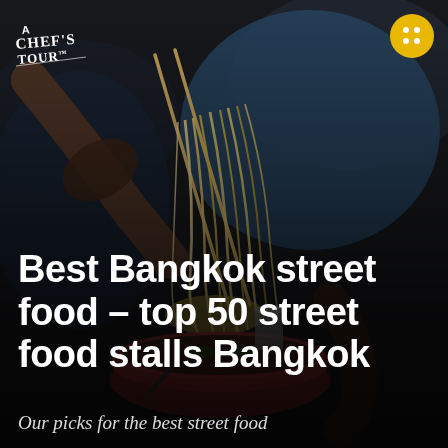[Figure (photo): A person eating noodles with chopsticks, lifting strands of yellow noodles from a bowl. The scene is dimly lit, dark background, person wearing blue shirt. A red bowl is visible. Dark atmospheric street food setting.]
Best Bangkok street food – top 50 street food stalls Bangkok
Our picks for the best street food